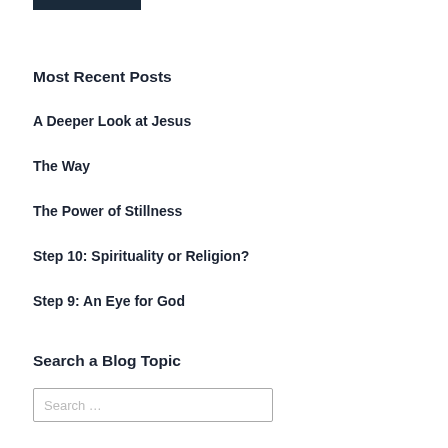[Figure (other): Dark navy/black horizontal bar at top left]
Most Recent Posts
A Deeper Look at Jesus
The Way
The Power of Stillness
Step 10: Spirituality or Religion?
Step 9: An Eye for God
Search a Blog Topic
Search …